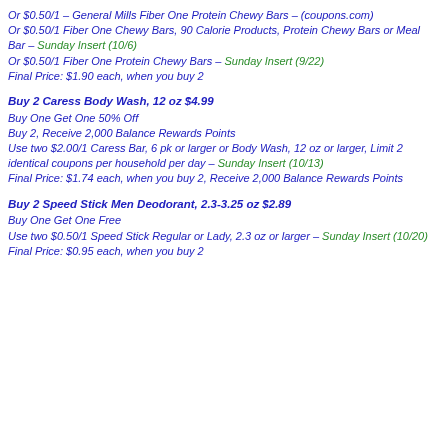Or $0.50/1 – General Mills Fiber One Protein Chewy Bars – (coupons.com) Or $0.50/1 Fiber One Chewy Bars, 90 Calorie Products, Protein Chewy Bars or Meal Bar – Sunday Insert (10/6) Or $0.50/1 Fiber One Protein Chewy Bars – Sunday Insert (9/22) Final Price: $1.90 each, when you buy 2
Buy 2 Caress Body Wash, 12 oz $4.99
Buy One Get One 50% Off Buy 2, Receive 2,000 Balance Rewards Points Use two $2.00/1 Caress Bar, 6 pk or larger or Body Wash, 12 oz or larger, Limit 2 identical coupons per household per day – Sunday Insert (10/13) Final Price: $1.74 each, when you buy 2, Receive 2,000 Balance Rewards Points
Buy 2 Speed Stick Men Deodorant, 2.3-3.25 oz $2.89
Buy One Get One Free Use two $0.50/1 Speed Stick Regular or Lady, 2.3 oz or larger – Sunday Insert (10/20) Final Price: $0.95 each, when you buy 2